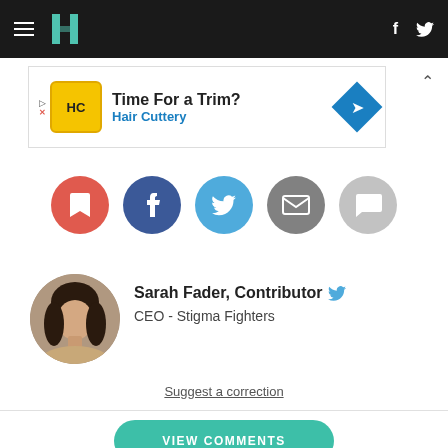HuffPost navigation bar with logo, Facebook and Twitter icons
[Figure (screenshot): Advertisement banner: Hair Cuttery - Time For a Trim?]
[Figure (infographic): Social sharing buttons row: bookmark (red), Facebook (dark blue), Twitter (light blue), email (gray), comment (light gray)]
[Figure (photo): Author avatar photo of Sarah Fader, circular crop]
Sarah Fader, Contributor
CEO - Stigma Fighters
Suggest a correction
VIEW COMMENTS